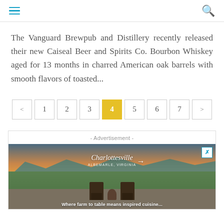Navigation header with hamburger menu and search icon
The Vanguard Brewpub and Distillery recently released their new Caiseal Beer and Spirits Co. Bourbon Whiskey aged for 13 months in charred American oak barrels with smooth flavors of toasted...
Pagination: < 1 2 3 4 5 6 7 >
[Figure (other): Advertisement banner showing Charlottesville, Virginia tourism ad with two people sitting in chairs watching a sunset over mountains and vineyards.]